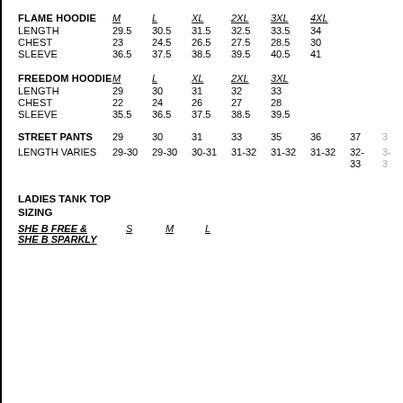|  | M | L | XL | 2XL | 3XL | 4XL |
| --- | --- | --- | --- | --- | --- | --- |
| FLAME HOODIE | M | L | XL | 2XL | 3XL | 4XL |
| LENGTH | 29.5 | 30.5 | 31.5 | 32.5 | 33.5 | 34 |
| CHEST | 23 | 24.5 | 26.5 | 27.5 | 28.5 | 30 |
| SLEEVE | 36.5 | 37.5 | 38.5 | 39.5 | 40.5 | 41 |
| FREEDOM HOODIE | M | L | XL | 2XL | 3XL |  |
| LENGTH | 29 | 30 | 31 | 32 | 33 |  |
| CHEST | 22 | 24 | 26 | 27 | 28 |  |
| SLEEVE | 35.5 | 36.5 | 37.5 | 38.5 | 39.5 |  |
| STREET PANTS | 29 | 30 | 31 | 33 | 35 | 36 | 37 | 3... |
| LENGTH VARIES | 29-30 | 29-30 | 30-31 | 31-32 | 31-32 | 31-32 | 32-33 | 3... |
LADIES TANK TOP SIZING
|  | S | M | L |
| --- | --- | --- | --- |
| SHE B FREE & SHE B SPARKLY | S | M | L |